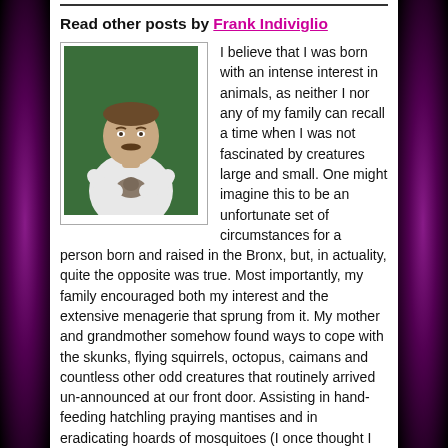ABOUT FRANK INDIVIGLIO
Read other posts by Frank Indiviglio
[Figure (photo): Portrait photo of Frank Indiviglio holding an animal, wearing a white shirt, against a green background]
I believe that I was born with an intense interest in animals, as neither I nor any of my family can recall a time when I was not fascinated by creatures large and small. One might imagine this to be an unfortunate set of circumstances for a person born and raised in the Bronx, but, in actuality, quite the opposite was true. Most importantly, my family encouraged both my interest and the extensive menagerie that sprung from it. My mother and grandmother somehow found ways to cope with the skunks, flying squirrels, octopus, caimans and countless other odd creatures that routinely arrived un-announced at our front door. Assisting in hand-feeding hatchling praying mantises and in eradicating hoards of mosquitoes (I once thought I had discovered “fresh-water brine shrimp” and stocked my tanks with thousands of mosquito larvae!) became second nature to them. My mother went on to become a serious naturalist, and has helped thousands learn about wildlife in her 16 years as a volunteer at the Bronx Zoo. My